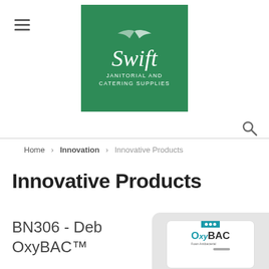Swift Janitorial and Catering Supplies logo
Home > Innovation > Innovative Products
Innovative Products
BN306 - Deb OxyBAC™
[Figure (photo): Product image of Deb OxyBAC hand soap dispenser/packaging with teal branding on a light grey rounded background]